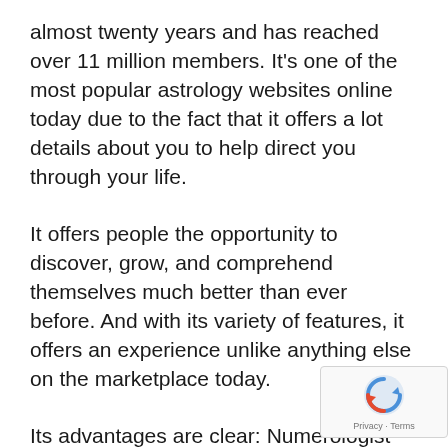almost twenty years and has reached over 11 million members. It's one of the most popular astrology websites online today due to the fact that it offers a lot details about you to help direct you through your life.
It offers people the opportunity to discover, grow, and comprehend themselves much better than ever before. And with its variety of features, it offers an experience unlike anything else on the marketplace today.
Its advantages are clear: Numerologist does a lot more than simply provide a numerology reading. It likewise supplies day-to-day horoscopes, tarot card readings, and customized birth charts for members to
[Figure (other): reCAPTCHA badge with blue circular arrow icon and 'Privacy - Terms' text]